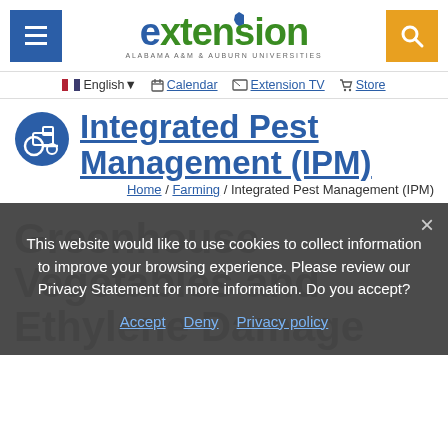Extension — Alabama A&M & Auburn Universities — navigation header with menu, search, English, Calendar, Extension TV, Store
Integrated Pest Management (IPM)
Home / Farming / Integrated Pest Management (IPM)
Greenhouse Vegetables and Ethylene Damage
January 31, 2017 — Jeremy Pickens — in Integrated Pest Management (IPM) — Print
This website would like to use cookies to collect information to improve your browsing experience. Please review our Privacy Statement for more information. Do you accept?